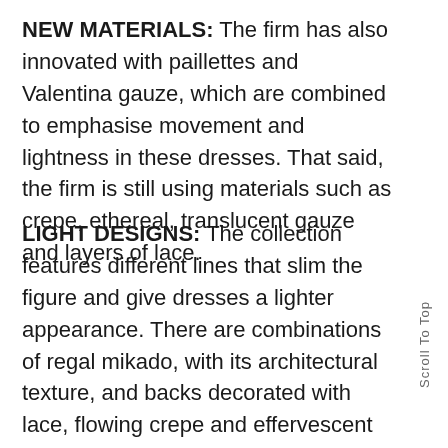NEW MATERIALS: The firm has also innovated with paillettes and Valentina gauze, which are combined to emphasise movement and lightness in these dresses. That said, the firm is still using materials such as crepe, ethereal, translucent gauze and layers of lace.
LIGHT DESIGNS: The collection features different lines that slim the figure and give dresses a lighter appearance. There are combinations of regal mikado, with its architectural texture, and backs decorated with lace, flowing crepe and effervescent gauze. The collection also contains short dresses inspired by fifties-style cocktail dresses, with details at the shoulders, waist,